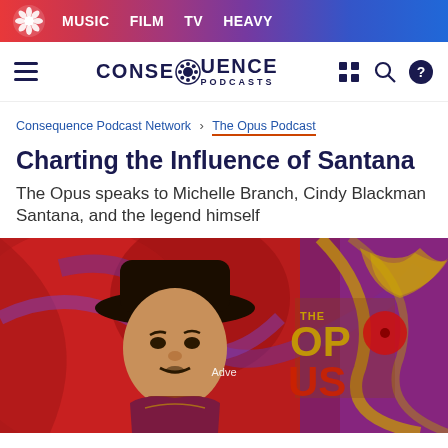MUSIC  FILM  TV  HEAVY
[Figure (logo): Consequence Podcasts logo with gear icon and navigation icons]
Consequence Podcast Network > The Opus Podcast
Charting the Influence of Santana
The Opus speaks to Michelle Branch, Cindy Blackman Santana, and the legend himself
[Figure (photo): Carlos Santana wearing a wide-brimmed black hat in front of colorful psychedelic artwork showing THE OPUS text with red and purple swirling background and bird imagery. An 'Adve' label partially visible in center.]